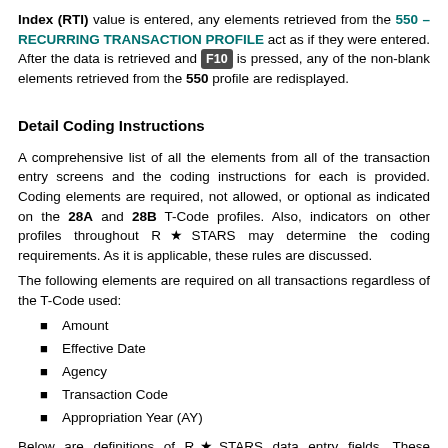Index (RTI) value is entered, any elements retrieved from the 550 – RECURRING TRANSACTION PROFILE act as if they were entered. After the data is retrieved and F10 is pressed, any of the non-blank elements retrieved from the 550 profile are redisplayed.
Detail Coding Instructions
A comprehensive list of all the elements from all of the transaction entry screens and the coding instructions for each is provided. Coding elements are required, not allowed, or optional as indicated on the 28A and 28B T-Code profiles. Also, indicators on other profiles throughout R★STARS may determine the coding requirements. As it is applicable, these rules are discussed.
The following elements are required on all transactions regardless of the T-Code used:
Amount
Effective Date
Agency
Transaction Code
Appropriation Year (AY)
Below are definitions of R★STARS data entry fields. These elements may be found on only one type of transaction screen or